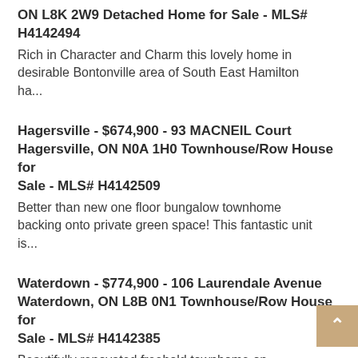ON L8K 2W9 Detached Home for Sale - MLS# H4142494
Rich in Character and Charm this lovely home in desirable Bontonville area of South East Hamilton ha...
Hagersville - $674,900 - 93 MACNEIL Court Hagersville, ON N0A 1H0 Townhouse/Row House for Sale - MLS# H4142509
Better than new one floor bungalow townhome backing onto private green space! This fantastic unit is...
Waterdown - $774,900 - 106 Laurendale Avenue Waterdown, ON L8B 0N1 Townhouse/Row House for Sale - MLS# H4142385
Beautifully renovated freehold townhome on premium, treed corner lot. Offering 3 bedrooms (area in b...